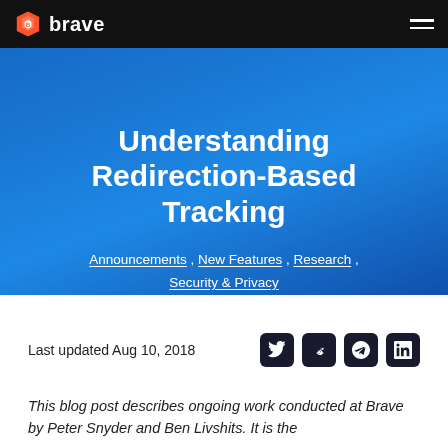brave
Understanding Redirection-Based Tracking
Announcements , New Features , Research , Security & Privacy
Last updated Aug 10, 2018
This blog post describes ongoing work conducted at Brave by Peter Snyder and Ben Livshits. It is the